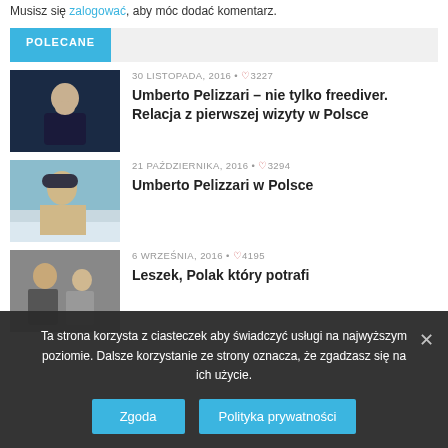Musisz się zalogować, aby móc dodać komentarz.
POLECANE
[Figure (photo): Person speaking at event, dark background]
30 LISTOPADA, 2016 • ♡3227
Umberto Pelizzari – nie tylko freediver. Relacja z pierwszej wizyty w Polsce
[Figure (photo): Person outdoors with cap, sea background]
21 PAŹDZIERNIKA, 2016 • ♡3294
Umberto Pelizzari w Polsce
[Figure (photo): Group of people outdoors]
6 WRZEŚNIA, 2016 • ♡4195
Leszek, Polak który potrafi
Ta strona korzysta z ciasteczek aby świadczyć usługi na najwyższym poziomie. Dalsze korzystanie ze strony oznacza, że zgadzasz się na ich użycie.